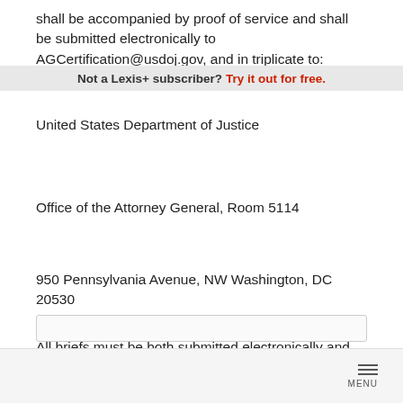shall be accompanied by proof of service and shall be submitted electronically to AGCertification@usdoj.gov, and in triplicate to:
Not a Lexis+ subscriber? Try it out for free.
United States Department of Justice
Office of the Attorney General, Room 5114
950 Pennsylvania Avenue, NW Washington, DC 20530
All briefs must be both submitted electronically and postmarked on or before the pertinent deadlines. Requests for extensions are disfavored.